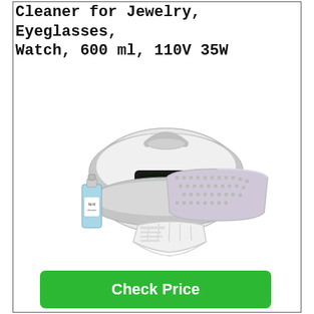Cleaner for Jewelry, Eyeglasses, Watch, 600 ml, 110V 35W
[Figure (photo): Ultrasonic cleaner product photo showing the main unit (white oval-shaped device with digital display and buttons), a small bottle of blue cleaning liquid, a plastic basket/tray accessory, and a watch holder bracket accessory.]
Check Price